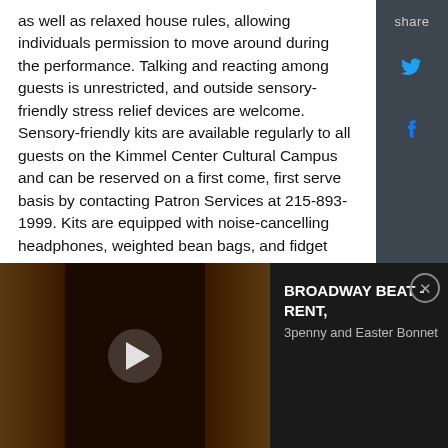as well as relaxed house rules, allowing individuals permission to move around during the performance. Talking and reacting among guests is unrestricted, and outside sensory-friendly stress relief devices are welcome. Sensory-friendly kits are available regularly to all guests on the Kimmel Center Cultural Campus and can be reserved on a first come, first serve basis by contacting Patron Services at 215-893-1999. Kits are equipped with noise-cancelling headphones, weighted bean bags, and fidget toys.
Details below for 2018-19 sensory-friendly performances across the Kimmel Center Cultural Campus:
[Figure (screenshot): Video player bar showing a darkened theater with red curtains and a play button overlay. Title reads: BROADWAY BEAT - RENT, 3penny and Easter Bonnet]